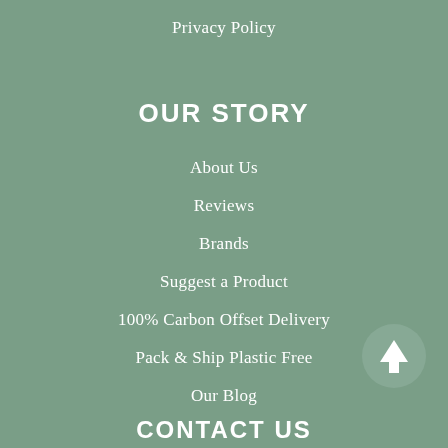Privacy Policy
OUR STORY
About Us
Reviews
Brands
Suggest a Product
100% Carbon Offset Delivery
Pack & Ship Plastic Free
Our Blog
[Figure (illustration): Scroll to top circular button with upward arrow icon]
CONTACT US